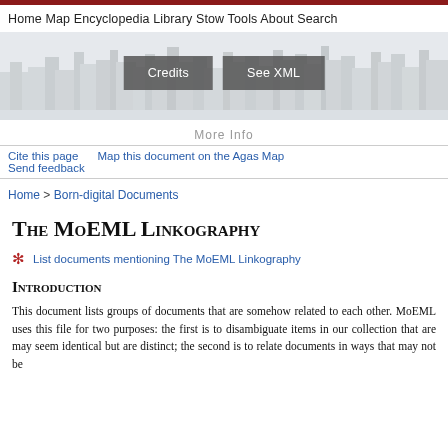Home  Map  Encyclopedia  Library  Stow  Tools  About  Search
[Figure (illustration): Historical engraved skyline of London with Credits and See XML buttons overlay]
More Info
Cite this page   Map this document on the Agas Map   Send feedback
Home > Born-digital Documents
The MoEML Linkography
List documents mentioning The MoEML Linkography
Introduction
This document lists groups of documents that are somehow related to each other. MoEML uses this file for two purposes: the first is to disambiguate items in our collection that are may seem identical but are distinct; the second is to relate documents in ways that may not be